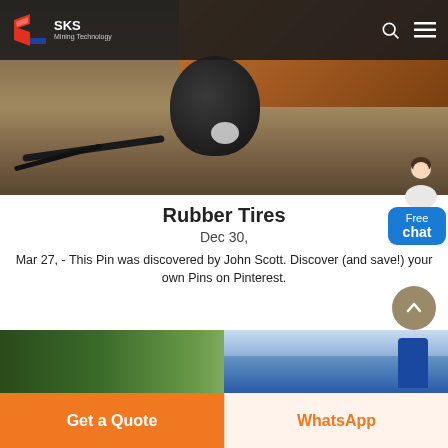SKS Mining Technology
[Figure (photo): Industrial machinery photo showing rubber tires/wheels on a ground surface with cables, orange/brown industrial equipment visible]
Rubber Tires
Dec 30,
Mar 27, - This Pin was discovered by John Scott. Discover (and save!) your own Pins on Pinterest.
[Figure (photo): Bottom strip image showing trees on left side and blue industrial machinery on right side]
Get a Quote
WhatsApp